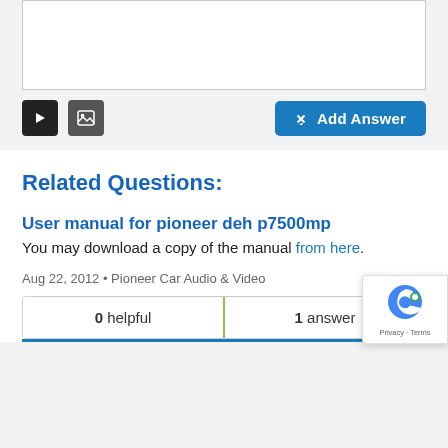[Figure (screenshot): Textarea input box (white, bordered) for entering an answer]
[Figure (screenshot): Toolbar with video icon, image icon, and Add Answer button]
Related Questions:
User manual for pioneer deh p7500mp
You may download a copy of the manual from here.
Aug 22, 2012 • Pioneer Car Audio & Video
| 0 helpful | 1 answer |
| --- | --- |